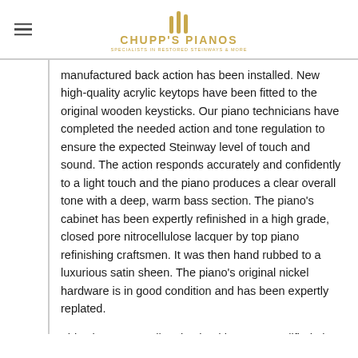CHUPP'S PIANOS
manufactured back action has been installed. New high-quality acrylic keytops have been fitted to the original wooden keysticks. Our piano technicians have completed the needed action and tone regulation to ensure the expected Steinway level of touch and sound. The action responds accurately and confidently to a light touch and the piano produces a clear overall tone with a deep, warm bass section. The piano’s cabinet has been expertly refinished in a high grade, closed pore nitrocellulose lacquer by top piano refinishing craftsmen. It was then hand rubbed to a luxurious satin sheen. The piano’s original nickel hardware is in good condition and has been expertly replated.
This piano was well maintained by a top-qualified piano technician in Michigan. Due to the work that the piano has received over the years as well as theontinual maintenance this piano received...